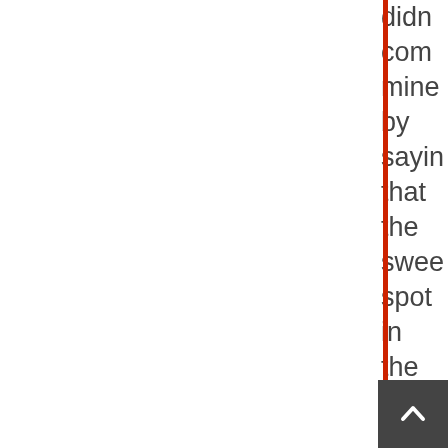didn't come mine by saying that the sweet spot in the middle of the 2 extremes
[Figure (other): Scroll-to-top button in the bottom-right corner, dark gray square with white upward-pointing chevron arrow]